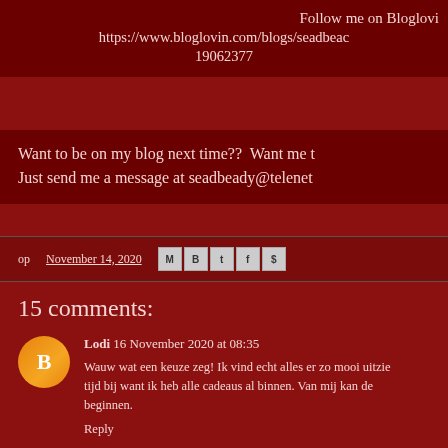Follow me on Bloglovin
https://www.bloglovin.com/blogs/seadbeady
19062377
Want to be on my blog next time??  Want me to... Just send me a message at seadbeady@telenet...
op November 14, 2020
15 comments:
Lodi 16 November 2020 at 08:35
Wauw wat een keuze zeg! Ik vind echt alles er zo mooi uitzie... tijd bij want ik heb alle cadeaus al binnen. Van mij kan de... beginnen.
Reply